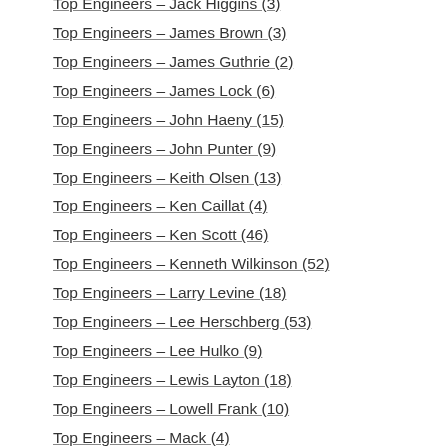Top Engineers – Jack Higgins (3)
Top Engineers – James Brown (3)
Top Engineers – James Guthrie (2)
Top Engineers – James Lock (6)
Top Engineers – John Haeny (15)
Top Engineers – John Punter (9)
Top Engineers – Keith Olsen (13)
Top Engineers – Ken Caillat (4)
Top Engineers – Ken Scott (46)
Top Engineers – Kenneth Wilkinson (52)
Top Engineers – Larry Levine (18)
Top Engineers – Lee Herschberg (53)
Top Engineers – Lee Hulko (9)
Top Engineers – Lewis Layton (18)
Top Engineers – Lowell Frank (10)
Top Engineers – Mack (4)
Top Engineers – Martin Birch (23)
Top Engineers – Mike Bobak (13)
Top Engineers – Mike Stone (7)